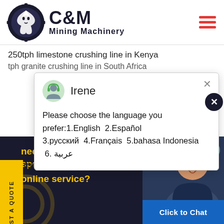[Figure (logo): C&M Mining Machinery logo with gear and eagle icon in dark navy blue]
250tph limestone crushing line in Kenya
tph granite crushing line in South Africa
[Figure (screenshot): Chat popup with avatar of Irene and language selection message: Please choose the language you prefer:1.English 2.Español 3.русский 4.Français 5.bahasa Indonesia 6. عربية]
line Chat
need to contact a specific online service?
[Figure (photo): Customer service agent woman wearing headset smiling, with notification badge showing 1 and Click to Chat button below]
Click to Chat
REQUEST A QUOTE